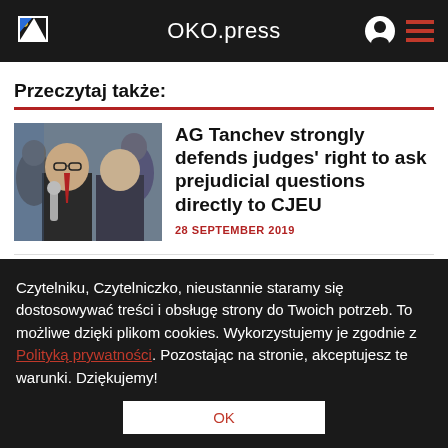OKO.press
Przeczytaj także:
[Figure (photo): Two men in suits, one wearing glasses with a red tie]
AG Tanchev strongly defends judges' right to ask prejudicial questions directly to CJEU
28 SEPTEMBER 2019
The EU possesses instruments for blocking the exchange of judges. It can exert political pressure
Czytelniku, Czytelniczko, nieustannie staramy się dostosowywać treści i obsługę strony do Twoich potrzeb. To możliwe dzięki plikom cookies. Wykorzystujemy je zgodnie z Polityką prywatności. Pozostając na stronie, akceptujesz te warunki. Dziękujemy!
OK